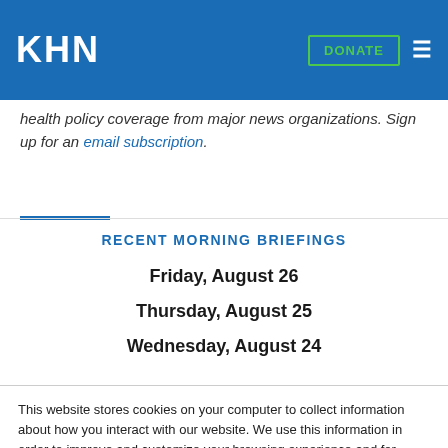KHN | DONATE
health policy coverage from major news organizations. Sign up for an email subscription.
RECENT MORNING BRIEFINGS
Friday, August 26
Thursday, August 25
Wednesday, August 24
This website stores cookies on your computer to collect information about how you interact with our website. We use this information in order to improve and customize your browsing experience and for analytics and metrics about our visitors both on this website and other media. To find out more about the cookies we use, see our Privacy Policy.
Accept